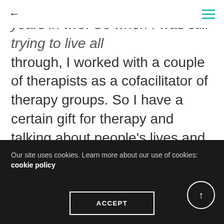← ≡
years in two. So when I was still trying to live all through, I worked with a couple of therapists as a cofacilitator of therapy groups. So I have a certain gift for therapy and talking about people's lives and asking them the right questions and getting the stuff out.
I like to hear about people's lives. I like to hear the stories, and in the Nashville music business, they're the most amazing stories of depressing
Our site uses cookies. Learn more about our use of cookies: cookie policy
ACCEPT